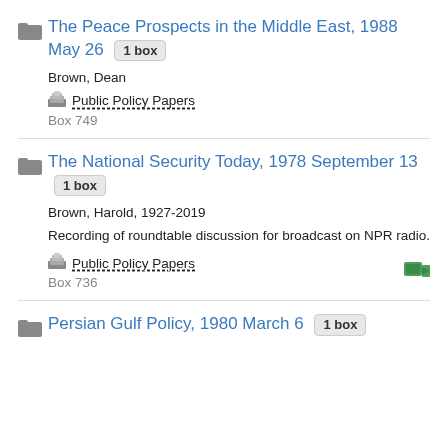The Peace Prospects in the Middle East, 1988 May 26 [1 box] — Brown, Dean — Public Policy Papers — Box 749
The National Security Today, 1978 September 13 [1 box] — Brown, Harold, 1927-2019 — Recording of roundtable discussion for broadcast on NPR radio. — Public Policy Papers — Box 736
Persian Gulf Policy, 1980 March 6 [1 box]